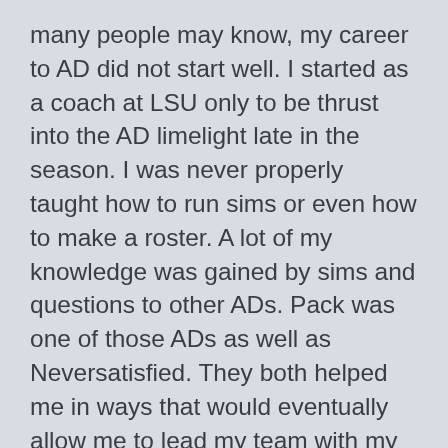many people may know, my career to AD did not start well. I started as a coach at LSU only to be thrust into the AD limelight late in the season. I was never properly taught how to run sims or even how to make a roster. A lot of my knowledge was gained by sims and questions to other ADs. Pack was one of those ADs as well as Neversatisfied. They both helped me in ways that would eventually allow me to lead my team with my own torch. Being given Texas in season three was probably the most exciting thing I could have ever imagined. Quickly building my locker room with highly active guys, Texas had hype and joined the SEC with Auburn. The Tigers were always a measuring stick. If I could beat Auburn then I know that I am doing something right. Unfortunately for Pack, we have beaten Auburn